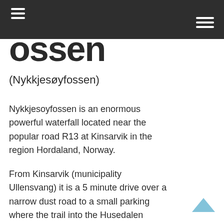≡
ossen
(Nykkjesøyfossen)
Nykkjesoyfossen is an enormous powerful waterfall located near the popular road R13 at Kinsarvik in the region Hordaland, Norway.
From Kinsarvik (municipality Ullensvang) it is a 5 minute drive over a narrow dust road to a small parking where the trail into the Husedalen starts. In summertime you better park the car before the bridge crossing